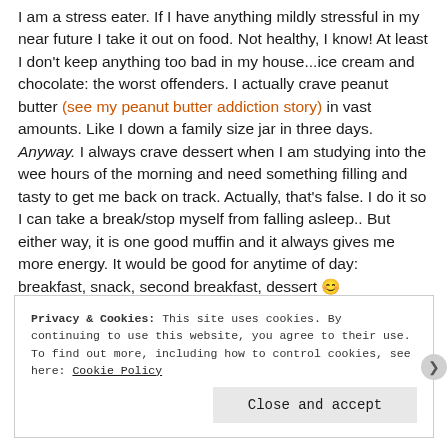I am a stress eater. If I have anything mildly stressful in my near future I take it out on food. Not healthy, I know! At least I don't keep anything too bad in my house...ice cream and chocolate: the worst offenders. I actually crave peanut butter (see my peanut butter addiction story) in vast amounts. Like I down a family size jar in three days.
Anyway. I always crave dessert when I am studying into the wee hours of the morning and need something filling and tasty to get me back on track. Actually, that's false. I do it so I can take a break/stop myself from falling asleep.. But either way, it is one good muffin and it always gives me more energy. It would be good for anytime of day: breakfast, snack, second breakfast, dessert 😀
Privacy & Cookies: This site uses cookies. By continuing to use this website, you agree to their use.
To find out more, including how to control cookies, see here: Cookie Policy
Close and accept